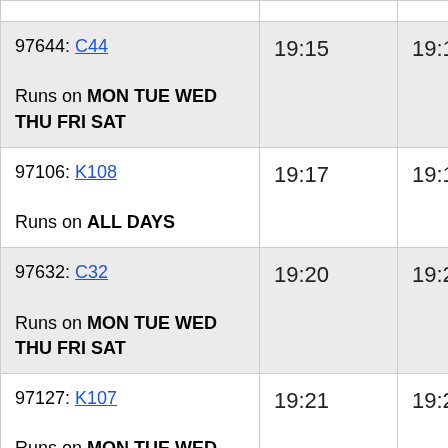| Route | Departure | Arrival |
| --- | --- | --- |
| 97644: C44
Runs on MON TUE WED THU FRI SAT | 19:15 | 19:16 |
| 97106: K108
Runs on ALL DAYS | 19:17 | 19:18 |
| 97632: C32
Runs on MON TUE WED THU FRI SAT | 19:20 | 19:21 |
| 97127: K107
Runs on MON TUE WED THU FRI SAT | 19:21 | 19:22 |
| 97129: K109 | 19:25 | 19:26 |